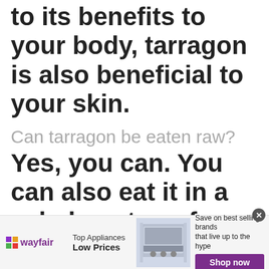to its benefits to your body, tarragon is also beneficial to your skin.
Can tarragon be eaten raw?
Yes, you can. You can also eat it in a salad, on top of grilled fish, and even in a smoothie! I
[Figure (other): Wayfair advertisement banner showing a kitchen range/oven with text 'Top Appliances Low Prices' and 'Save on best selling brands that live up to the hype' with a purple 'Shop now' button]